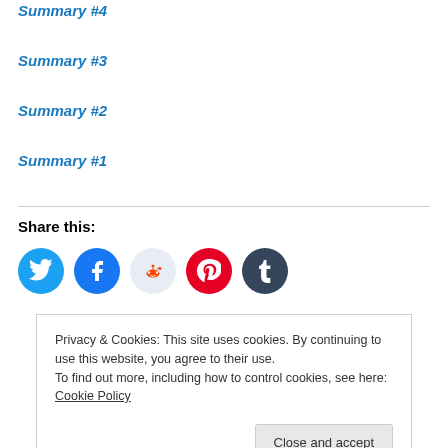Summary #4
Summary #3
Summary #2
Summary #1
Share this:
[Figure (infographic): Social share buttons: Twitter (blue), Facebook (blue), Reddit (light blue/grey), Pinterest (red), Tumblr (dark navy)]
Privacy & Cookies: This site uses cookies. By continuing to use this website, you agree to their use. To find out more, including how to control cookies, see here: Cookie Policy